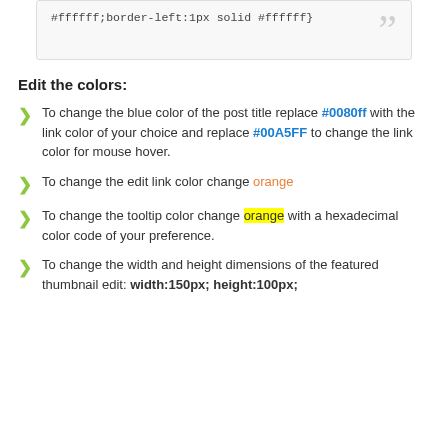#ffffff;border-left:1px solid #ffffff}
Edit the colors:
To change the blue color of the post title replace #0080ff with the link color of your choice and replace #00A5FF to change the link color for mouse hover.
To change the edit link color change orange
To change the tooltip color change orange with a hexadecimal color code of your preference.
To change the width and height dimensions of the featured thumbnail edit: width:150px; height:100px;